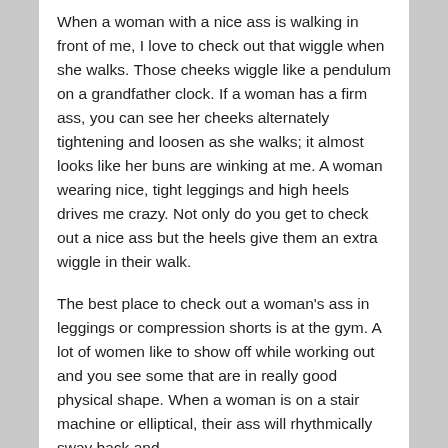When a woman with a nice ass is walking in front of me, I love to check out that wiggle when she walks. Those cheeks wiggle like a pendulum on a grandfather clock. If a woman has a firm ass, you can see her cheeks alternately tightening and loosen as she walks; it almost looks like her buns are winking at me. A woman wearing nice, tight leggings and high heels drives me crazy. Not only do you get to check out a nice ass but the heels give them an extra wiggle in their walk.
The best place to check out a woman's ass in leggings or compression shorts is at the gym. A lot of women like to show off while working out and you see some that are in really good physical shape. When a woman is on a stair machine or elliptical, their ass will rhythmically sway back and